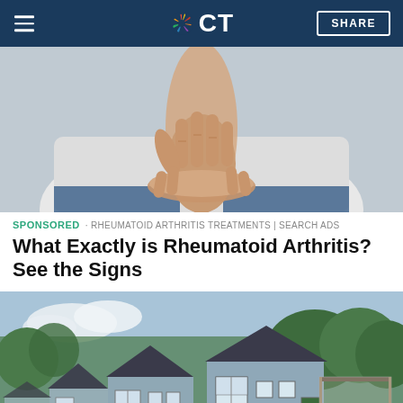NBC CT — SHARE
[Figure (photo): Close-up photo of a person holding their wrist/hand, suggesting joint pain associated with rheumatoid arthritis. The person is wearing a white top and blue pants.]
SPONSORED · RHEUMATOID ARTHRITIS TREATMENTS | SEARCH ADS
What Exactly is Rheumatoid Arthritis? See the Signs
[Figure (photo): Exterior photo of a row of small blue and white holiday cabins or tiny homes lined up along a path, surrounded by green trees and bushes on a sunny day.]